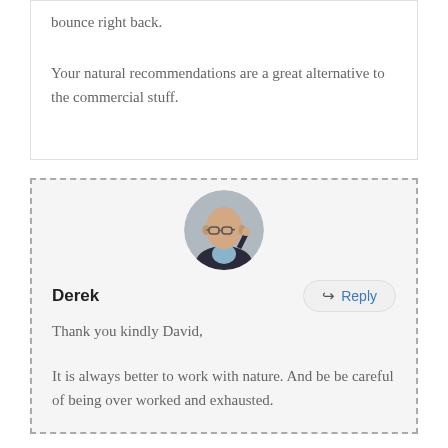bounce right back.
Your natural recommendations are a great alternative to the commercial stuff.
[Figure (photo): Circular avatar photo of a bald man wearing glasses, in a dark suit, holding his hand near his head]
Derek
Reply
Thank you kindly David,
It is always better to work with nature. And be be careful of being over worked and exhausted.